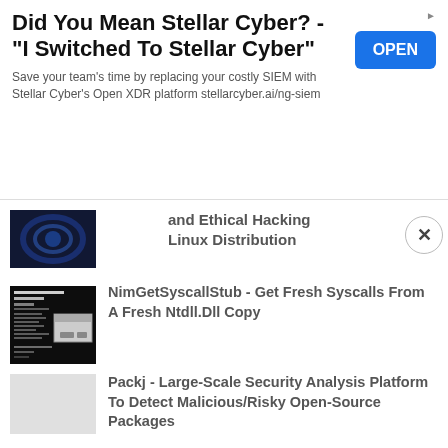[Figure (other): Advertisement banner for Stellar Cyber with OPEN button]
and Ethical Hacking Linux Distribution
[Figure (screenshot): Dark terminal/code screenshot showing NimGetSyscallStub tool output]
NimGetSyscallStub - Get Fresh Syscalls From A Fresh Ntdll.Dll Copy
[Figure (other): Light gray placeholder thumbnail for Packj article]
Packj - Large-Scale Security Analysis Platform To Detect Malicious/Risky Open-Source Packages